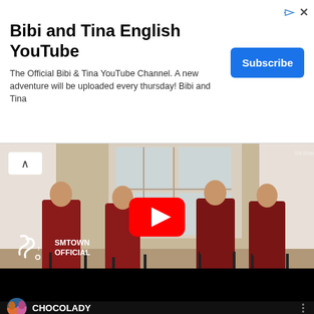[Figure (screenshot): Ad banner for Bibi and Tina English YouTube channel with Subscribe button]
Bibi and Tina English YouTube
The Official Bibi & Tina YouTube Channel. A new adventure will be uploaded every thursday! Bibi and Tina
[Figure (screenshot): YouTube video player showing four women in red outfits seated on chairs in elegant room, SMTOWN OFFICIAL watermark, red YouTube play button overlay]
[Figure (screenshot): Bottom video card showing CHOCOLADY channel with avatar of two people]